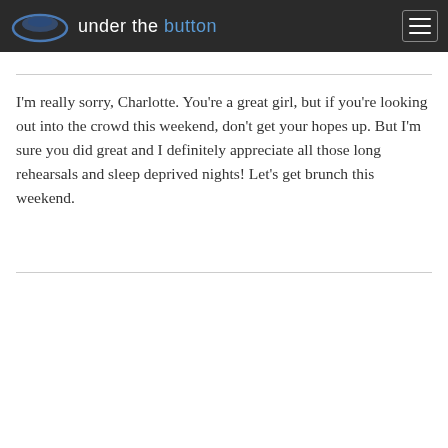under the button
I'm really sorry, Charlotte. You're a great girl, but if you're looking out into the crowd this weekend, don't get your hopes up. But I'm sure you did great and I definitely appreciate all those long rehearsals and sleep deprived nights! Let's get brunch this weekend.